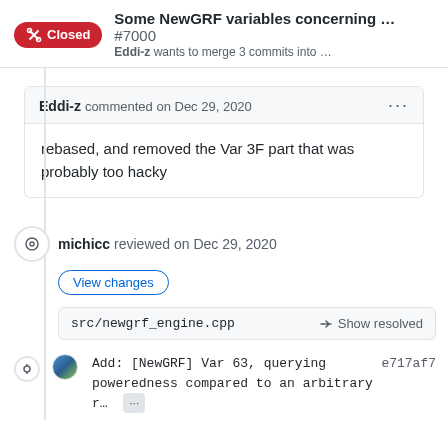Some NewGRF variables concerning ... #7000
Eddi-z wants to merge 3 commits into ...
Eddi-z commented on Dec 29, 2020
rebased, and removed the Var 3F part that was probably too hacky
michicc reviewed on Dec 29, 2020
View changes
src/newgrf_engine.cpp    Show resolved
Add: [NewGRF] Var 63, querying    e717af7
poweredness compared to an arbitrary
r…  ...